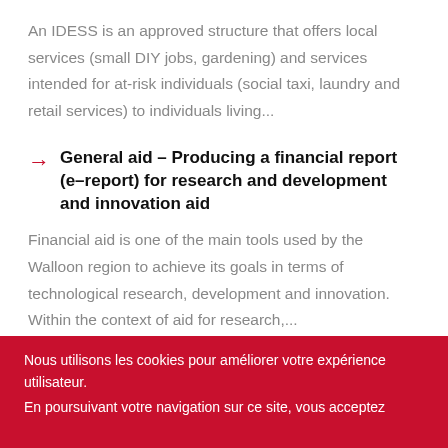An IDESS is an approved structure that offers local services (small DIY jobs, gardening) and services intended for at-risk individuals (social taxi, laundry and retail services) to individuals living...
General aid – Producing a financial report (e–report) for research and development and innovation aid
Financial aid is one of the main tools used by the Walloon region to achieve its goals in terms of technological research, development and innovation. Within the context of aid for research,...
Nous utilisons les cookies pour améliorer votre expérience utilisateur.
En poursuivant votre navigation sur ce site, vous acceptez